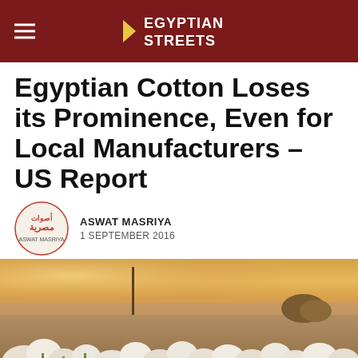EGYPTIAN STREETS
Egyptian Cotton Loses its Prominence, Even for Local Manufacturers – US Report
ASWAT MASRIYA
1 SEPTEMBER 2016
[Figure (photo): Cotton field with white cotton blooms in foreground, warm golden light, haystacks in background]
Social share bar: Facebook, Twitter, Pinterest, Reddit, WhatsApp